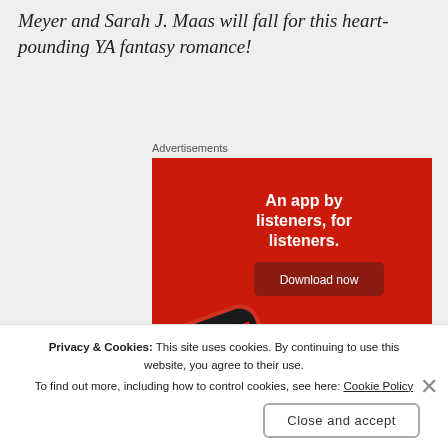Meyer and Sarah J. Maas will fall for this heart-pounding YA fantasy romance!
Advertisements
[Figure (screenshot): Advertisement banner with red background showing a smartphone displaying a podcast app screen with text 'Dis-trib-uted'. Right side reads 'An app by listeners, for listeners.' with a dark red 'Download now' button.]
Privacy & Cookies: This site uses cookies. By continuing to use this website, you agree to their use.
To find out more, including how to control cookies, see here: Cookie Policy
Close and accept